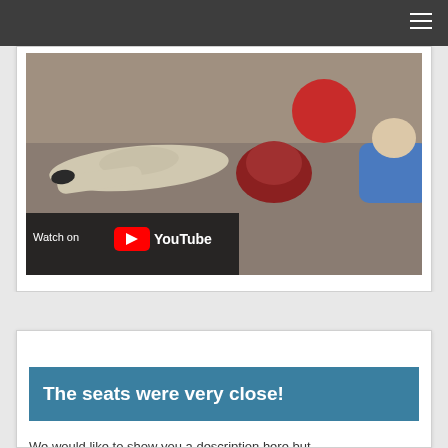[Figure (screenshot): Video thumbnail showing children lying on the floor, with a 'Watch on YouTube' overlay in the lower left corner.]
The seats were very close!
We would like to show you a description here but